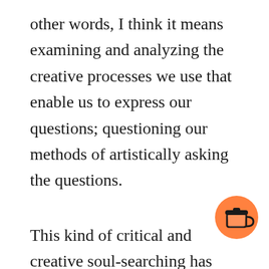other words, I think it means examining and analyzing the creative processes we use that enable us to express our questions; questioning our methods of artistically asking the questions.
This kind of critical and creative soul-searching has been teaching me about myself and my own creative process. It’s becoming more and more obvious that, artistically speaking, I’m a writer before anything else. Such a realization is more an act of acknowledgement and acceptance than a statement of shock or surprise. The fact that I
[Figure (illustration): Orange circular button with a coffee cup icon (Buy Me a Coffee style widget) positioned in the bottom-right corner of the page.]